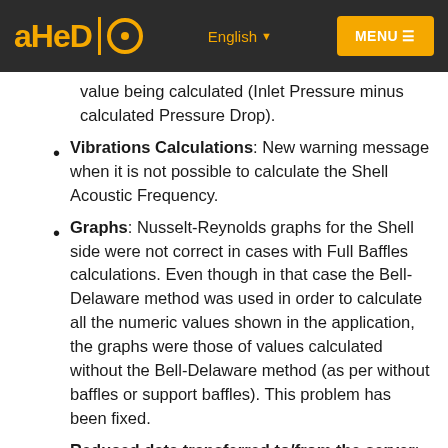AHED | O   English ▾   MENU ≡
value being calculated (Inlet Pressure minus calculated Pressure Drop).
Vibrations Calculations: New warning message when it is not possible to calculate the Shell Acoustic Frequency.
Graphs: Nusselt-Reynolds graphs for the Shell side were not correct in cases with Full Baffles calculations. Even though in that case the Bell-Delaware method was used in order to calculate all the numeric values shown in the application, the graphs were those of values calculated without the Bell-Delaware method (as per without baffles or support baffles). This problem has been fixed.
Reduced data transferred to/from the server: The application has been optimised in order to reduce the size of the data sent to the server (and